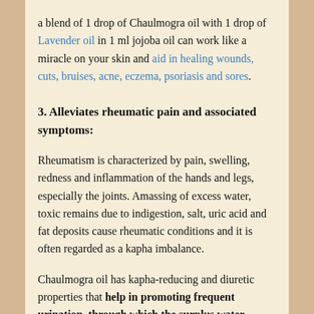a blend of 1 drop of Chaulmogra oil with 1 drop of Lavender oil in 1 ml jojoba oil can work like a miracle on your skin and aid in healing wounds, cuts, bruises, acne, eczema, psoriasis and sores.
3. Alleviates rheumatic pain and associated symptoms:
Rheumatism is characterized by pain, swelling, redness and inflammation of the hands and legs, especially the joints. Amassing of excess water, toxic remains due to indigestion, salt, uric acid and fat deposits cause rheumatic conditions and it is often regarded as a kapha imbalance.
Chaulmogra oil has kapha-reducing and diuretic properties that help in promoting frequent urination, through which the surplus water deposits and toxic remains are eliminated through urine.
Massaging the affected parts with 2 drops of Chaulmogra oil blended with 2 drops of Chaulmogra oil and 2 drops of